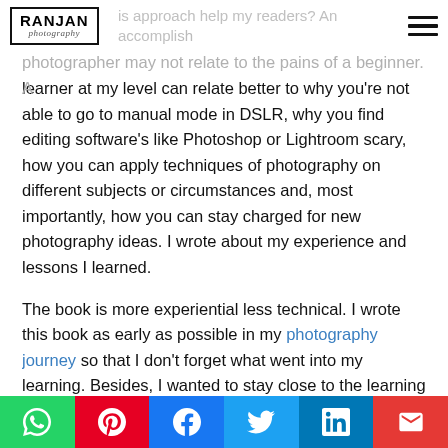RANJAN photography
is approach help my readers? An accomplished photographer may not relate to the pains of a beginner. A learner at my level can relate better to why you’re not able to go to manual mode in DSLR, why you find editing software’s like Photoshop or Lightroom scary, how you can apply techniques of photography on different subjects or circumstances and, most importantly, how you can stay charged for new photography ideas. I wrote about my experience and lessons I learned.
The book is more experiential less technical. I wrote this book as early as possible in my photography journey so that I don’t forget what went into my learning. Besides, I wanted to stay close to the learning level of fellow photography enthusiast. A professional photographer would write a book from an unconscious bias of how he/she perceives th